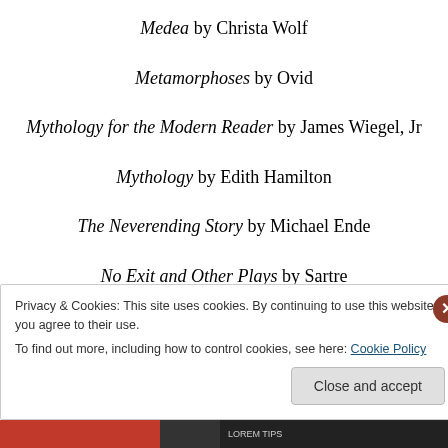Medea by Christa Wolf
Metamorphoses by Ovid
Mythology for the Modern Reader by James Wiegel, Jr
Mythology by Edith Hamilton
The Neverending Story by Michael Ende
No Exit and Other Plays by Sartre
Privacy & Cookies: This site uses cookies. By continuing to use this website, you agree to their use. To find out more, including how to control cookies, see here: Cookie Policy